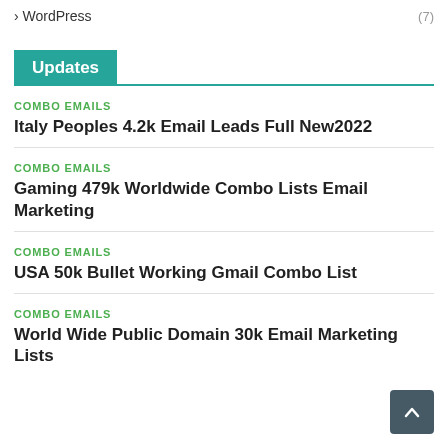> WordPress (7)
Updates
COMBO EMAILS
Italy Peoples 4.2k Email Leads Full New2022
COMBO EMAILS
Gaming 479k Worldwide Combo Lists Email Marketing
COMBO EMAILS
USA 50k Bullet Working Gmail Combo List
COMBO EMAILS
World Wide Public Domain 30k Email Marketing Lists